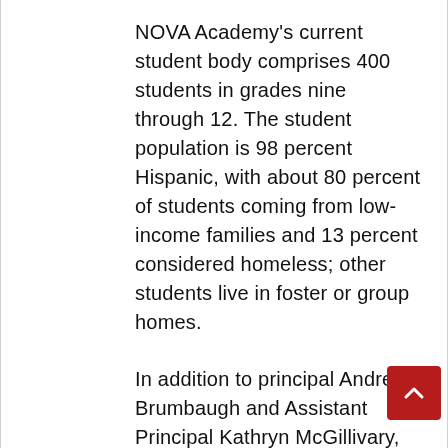NOVA Academy's current student body comprises 400 students in grades nine through 12. The student population is 98 percent Hispanic, with about 80 percent of students coming from low-income families and 13 percent considered homeless; other students live in foster or group homes.
In addition to principal Andrea Brumbaugh and Assistant Principal Kathryn McGillivary, NOVA Academy in Santa Ana has 20 teachers and committed counselors and staff